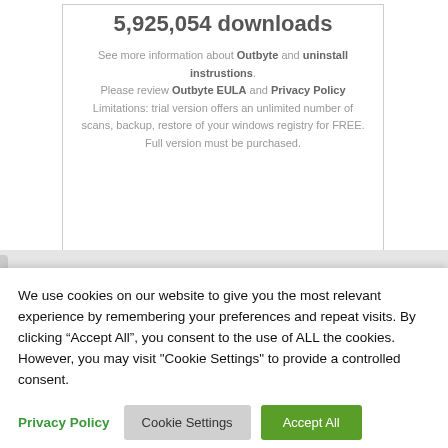5,925,054 downloads
See more information about Outbyte and uninstall instrustions. Please review Outbyte EULA and Privacy Policy
Limitations: trial version offers an unlimited number of scans, backup, restore of your windows registry for FREE. Full version must be purchased.
We use cookies on our website to give you the most relevant experience by remembering your preferences and repeat visits. By clicking “Accept All”, you consent to the use of ALL the cookies. However, you may visit "Cookie Settings" to provide a controlled consent.
Privacy Policy  Cookie Settings  Accept All